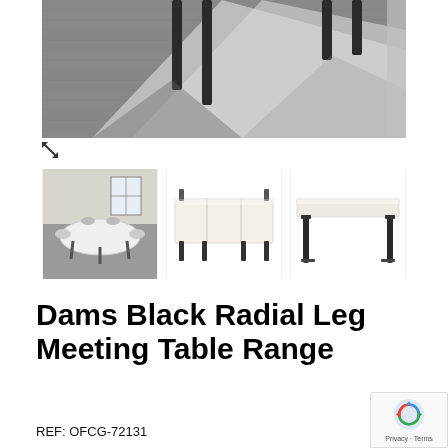[Figure (photo): Top-down view of a meeting table setting on grey carpet, showing table legs from above]
[Figure (photo): Thumbnail: room scene with oval white meeting table and chairs]
[Figure (photo): Thumbnail: product image of modular rectangular tables with black radial legs arranged in cluster]
[Figure (photo): Thumbnail: single rectangular white meeting table with black radial legs, front view]
Dams Black Radial Leg Meeting Table Range
REF: OFCG-72131